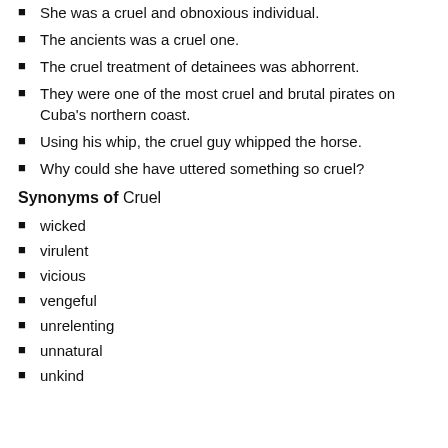She was a cruel and obnoxious individual.
The ancients was a cruel one.
The cruel treatment of detainees was abhorrent.
They were one of the most cruel and brutal pirates on Cuba's northern coast.
Using his whip, the cruel guy whipped the horse.
Why could she have uttered something so cruel?
Synonyms of Cruel
wicked
virulent
vicious
vengeful
unrelenting
unnatural
unkind